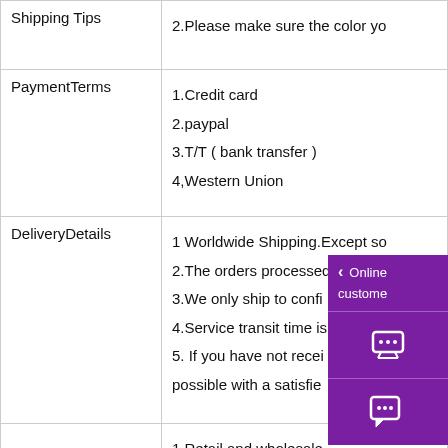| Category | Details |
| --- | --- |
| Shipping Tips | 2.Please make sure the color yo... |
| PaymentTerms | 1.Credit card
2.paypal
3.T/T ( bank transfer )
4,Western Union |
| DeliveryDetails | 1 Worldwide Shipping.Except so...
2.The orders processed timely at...
3.We only ship to confi...
4.Service transit time is...
5. If you have not recei...
possible with a satisfie... |
|  | 1.Retail and wholesale...
2.If you are not satisfie... |
[Figure (infographic): Purple online customer service overlay panel with back arrow, 'Online customer' text, shopping cart icon, and chat bubble icon]